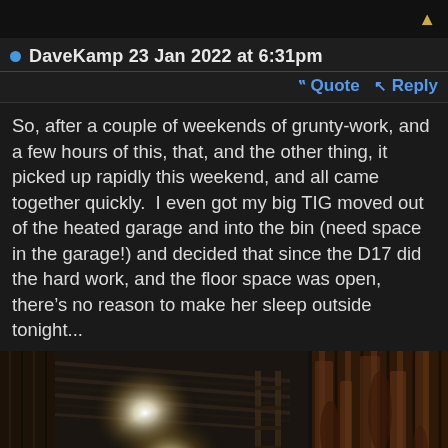DaveKamp 23 Jan 2022 at 6:31pm
Quote  Reply
So, after a couple of weekends of grunty-work, and a few hours of this, that, and the other thing, it picked up rapidly this weekend, and all came together quickly.  I even got my big TIG moved out of the heated garage and into the bin (need space in the garage!) and decided that since the D17 did the hard work, and the floor space was open, there’s no reason to make her sleep outside tonight...
[Figure (photo): Interior of a large metal bin or container at night, showing corrugated metal walls and ceiling with bright work lights illuminating the space. A ladder is visible inside. The right side shows a rusty corrugated metal exterior wall.]